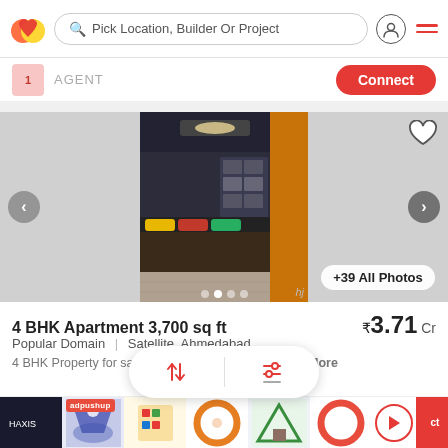Pick Location, Builder Or Project
AGENT | Connect
[Figure (photo): Real estate listing carousel showing a bedroom interior with dark walls, orange wood accents, colorful pillows, and ceiling light. Navigation arrows on left and right. Dots pagination and +39 All Photos button visible.]
4 BHK Apartment 3,700 sq ft
₹3.71 Cr
Popular Domain  |  Satellite, Ahmedabad
4 BHK Property for sale in ... ad: A 4 bhk pro...  More
[Figure (screenshot): Sort and filter overlay buttons with up-down arrows icon and sliders icon]
[Figure (infographic): adpushup ad strip with thumbnail images of wreaths, decorative items, and a play button]